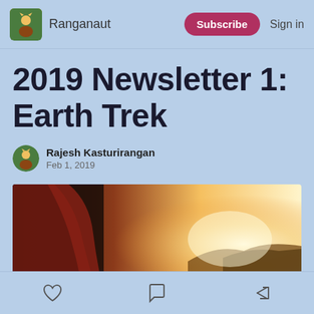Ranganaut | Subscribe | Sign in
2019 Newsletter 1: Earth Trek
Rajesh Kasturirangan
Feb 1, 2019
[Figure (photo): Hero image showing a person in warm sunlight, outdoor scene with bright golden light and landscape silhouette]
Like | Comment | Share